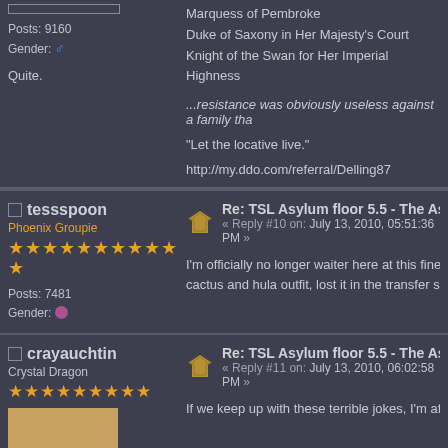Posts: 9160
Gender: [male]
Quite.
Marquess of Pembroke
Duke of Saxony in Her Majesty's Court
Knight of the Swan for Her Imperial Highness
...resistance was obviously useless against a family tha
"Let the locative live."
http://my.ddo.com/referral/Delling87
tessspoon
Phoenix Groupie
★★★★★★★★★★★
Posts: 7481
Gender: [female]
Re: TSL Asylum floor 5.5 - The Asylun
« Reply #10 on: July 13, 2010, 05:51:36 PM »
I'm officially no longer waiter here at this fine e cactus and hula outfit, lost it in the transfer son
crayauchtin
Crystal Dragon
★★★★★★★★★
Re: TSL Asylum floor 5.5 - The Asylun
« Reply #11 on: July 13, 2010, 06:02:58 PM »
If we keep up with these terrible jokes, I'm afra